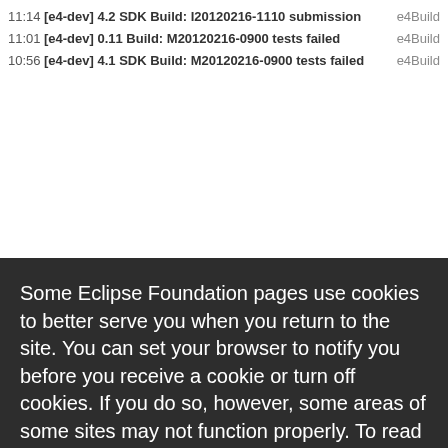11:14 [e4-dev] 4.2 SDK Build: I20120216-1110 submission  e4Build
11:01 [e4-dev] 0.11 Build: M20120216-0900 tests failed  e4Build
10:56 [e4-dev] 4.1 SDK Build: M20120216-0900 tests failed  e4Build
[Figure (screenshot): Cookie consent overlay dialog from Eclipse Foundation website. Dark background with white text reading: 'Some Eclipse Foundation pages use cookies to better serve you when you return to the site. You can set your browser to notify you before you receive a cookie or turn off cookies. If you do so, however, some areas of some sites may not function properly. To read Eclipse Foundation Privacy Policy click here.' Two buttons: 'Decline' (white) and 'Allow cookies' (orange).]
webster